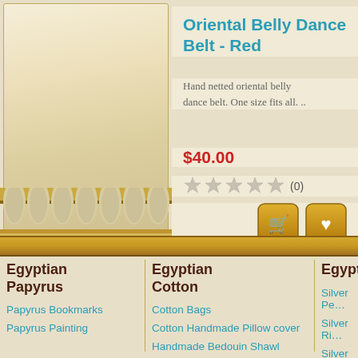[Figure (photo): Product image area showing Egyptian-style decorative background with arch/column decoration at bottom]
Oriental Belly Dance Belt - Red
Hand netted oriental belly dance belt. One size fits all. ..
$40.00
(0)
Egyptian Papyrus
Papyrus Bookmarks
Papyrus Painting
Egyptian Cotton
Cotton Bags
Cotton Handmade Pillow cover
Handmade Bedouin Shawl
Belly Dance Belts
Cotton Wall Hangers & Decore
Egypti…
Silver Pe…
Silver Ri…
Silver Ea…
Silver Br…